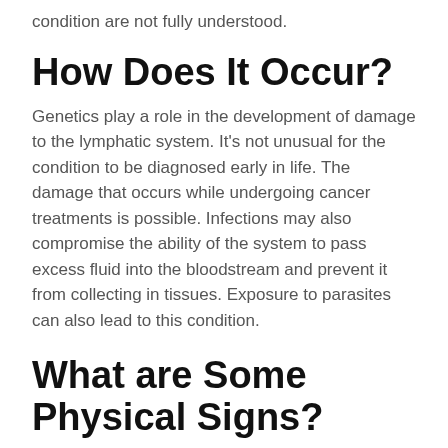condition are not fully understood.
How Does It Occur?
Genetics play a role in the development of damage to the lymphatic system. It's not unusual for the condition to be diagnosed early in life. The damage that occurs while undergoing cancer treatments is possible. Infections may also compromise the ability of the system to pass excess fluid into the bloodstream and prevent it from collecting in tissues. Exposure to parasites can also lead to this condition.
What are Some Physical Signs?